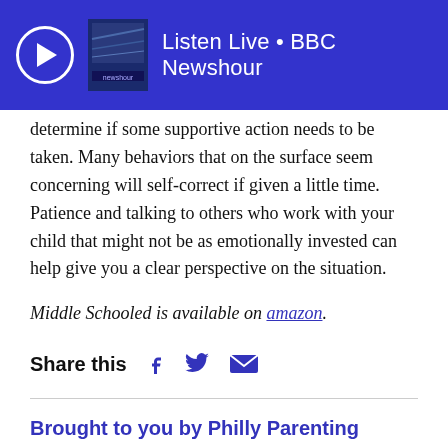[Figure (screenshot): BBC Newshour Listen Live banner with play button, album art, and text 'Listen Live • BBC Newshour' on blue background]
determine if some supportive action needs to be taken. Many behaviors that on the surface seem concerning will self-correct if given a little time.  Patience and talking to others who work with your child that might not be as emotionally invested can help give you a clear perspective on the situation.
Middle Schooled is available on amazon.
Share this
Brought to you by Philly Parenting